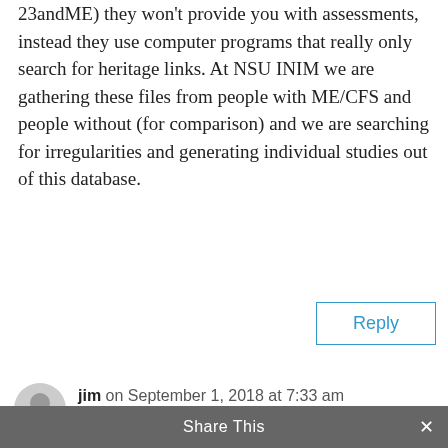23andME) they won't provide you with assessments, instead they use computer programs that really only search for heritage links. At NSU INIM we are gathering these files from people with ME/CFS and people without (for comparison) and we are searching for irregularities and generating individual studies out of this database.
Reply
jim on September 1, 2018 at 7:33 am
I plan to have my genome sequenced to help the Stanford group. It's from Genos. In part it's "A CLIA/CAP validated germline discovery pipeline coupling best practice
Share This ×